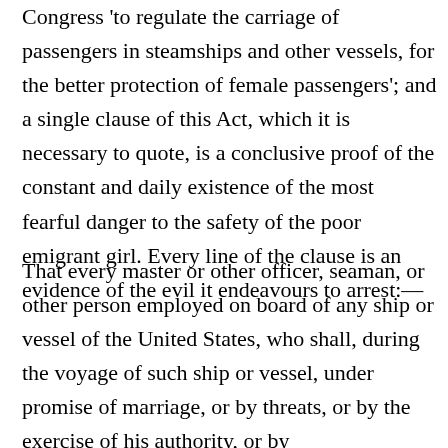Congress 'to regulate the carriage of passengers in steamships and other vessels, for the better protection of female passengers'; and a single clause of this Act, which it is necessary to quote, is a conclusive proof of the constant and daily existence of the most fearful danger to the safety of the poor emigrant girl. Every line of the clause is an evidence of the evil it endeavours to arrest:—
That every master or other officer, seaman, or other person employed on board of any ship or vessel of the United States, who shall, during the voyage of such ship or vessel, under promise of marriage, or by threats, or by the exercise of his authority, or by